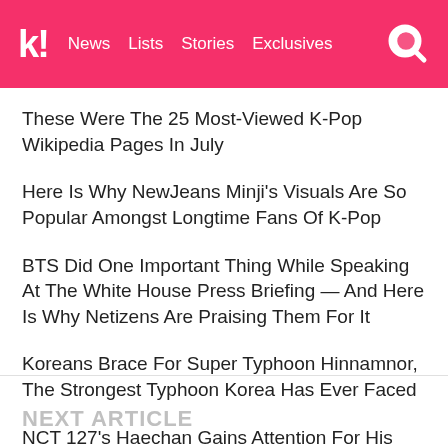k! News Lists Stories Exclusives
These Were The 25 Most-Viewed K-Pop Wikipedia Pages In July
Here Is Why NewJeans Minji's Visuals Are So Popular Amongst Longtime Fans Of K-Pop
BTS Did One Important Thing While Speaking At The White House Press Briefing — And Here Is Why Netizens Are Praising Them For It
Koreans Brace For Super Typhoon Hinnamnor, The Strongest Typhoon Korea Has Ever Faced
NCT 127's Haechan Gains Attention For His Visuals In Unwhitewashed Fan-Taken Pictures At Recent Concert In Manila, Philippines
NEXT ARTICLE